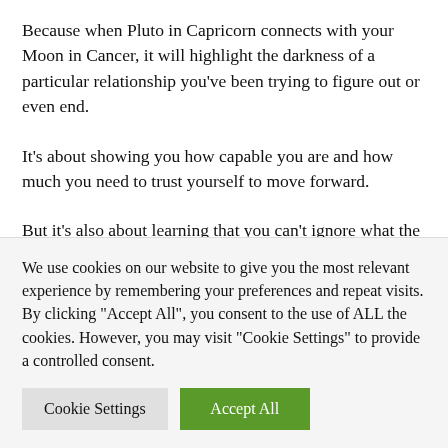Because when Pluto in Capricorn connects with your Moon in Cancer, it will highlight the darkness of a particular relationship you've been trying to figure out or even end.
It's about showing you how capable you are and how much you need to trust yourself to move forward.
But it's also about learning that you can't ignore what the universe wants you to deal with. So lean in and act from your inner strength instead of your insecurities so you are sure to
We use cookies on our website to give you the most relevant experience by remembering your preferences and repeat visits. By clicking "Accept All", you consent to the use of ALL the cookies. However, you may visit "Cookie Settings" to provide a controlled consent.